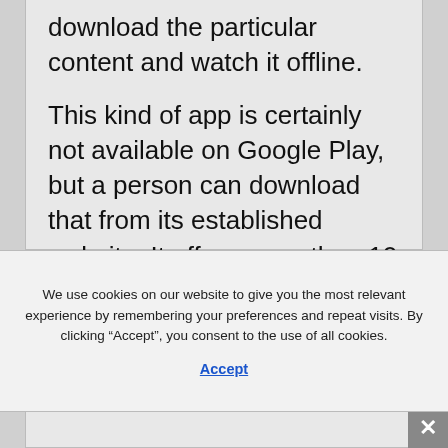download the particular content and watch it offline.
This kind of app is certainly not available on Google Play, but a person can download that from its established website. It offers more than 10 , 000, 000 active users.
We use cookies on our website to give you the most relevant experience by remembering your preferences and repeat visits. By clicking “Accept”, you consent to the use of all cookies.
Accept